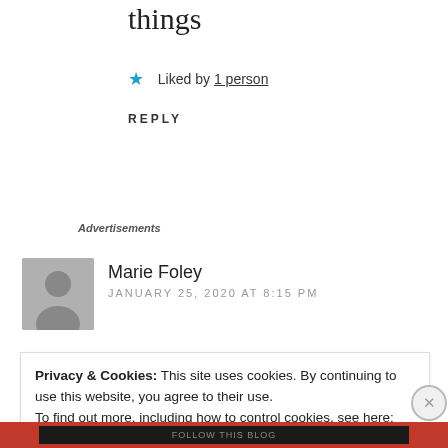things
★ Liked by 1 person
REPLY
Advertisements
Marie Foley
JANUARY 25, 2020 AT 8:15 PM
Privacy & Cookies: This site uses cookies. By continuing to use this website, you agree to their use.
To find out more, including how to control cookies, see here: Cookie Policy
Close and accept